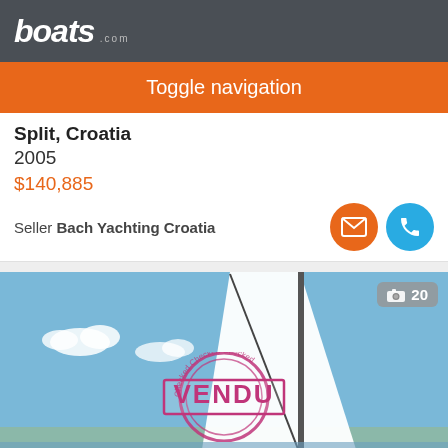boats.com
Toggle navigation
Split, Croatia
2005
$140,885
Seller Bach Yachting Croatia
[Figure (photo): A sailboat with white sails against a blue sky. A red circular stamp reading 'VENDU' overlaid on the image. A photo count badge showing camera icon and '20' in the top right corner.]
Sort By
Filter Search